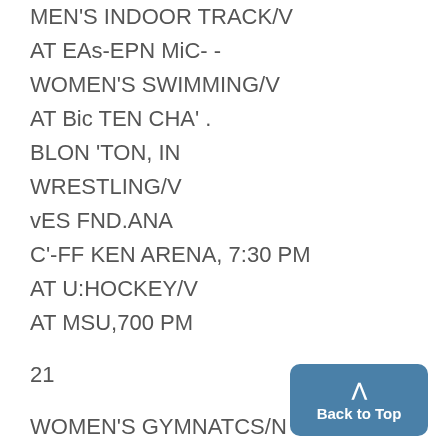MEN'S INDOOR TRACK/V
AT EAs-EPN MiC- -
WOMEN'S SWIMMING/V
AT Bic TEN CHA' .
BLON 'TON, IN
WRESTLING/V
vES FND.ANA
C'-FF KEN ARENA, 7:30 PM
AT U:HOCKEY/V
AT MSU,700 PM
21
WOMEN'S GYMNATCS/N